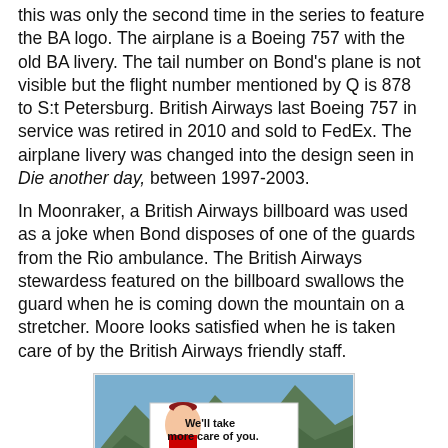this was only the second time in the series to feature the BA logo. The airplane is a Boeing 757 with the old BA livery. The tail number on Bond's plane is not visible but the flight number mentioned by Q is 878 to S:t Petersburg. British Airways last Boeing 757 in service was retired in 2010 and sold to FedEx. The airplane livery was changed into the design seen in Die another day, between 1997-2003.
In Moonraker, a British Airways billboard was used as a joke when Bond disposes of one of the guards from the Rio ambulance. The British Airways stewardess featured on the billboard swallows the guard when he is coming down the mountain on a stretcher. Moore looks satisfied when he is taken care of by the British Airways friendly staff.
[Figure (photo): A British Airways billboard reading 'We'll take more care of you.' with a stewardess image, set against a mountainous outdoor background in Rio de Janeiro scene from Moonraker.]
Moonraker is probably the film with the most obvious product placements in the series. Products and brands used in the